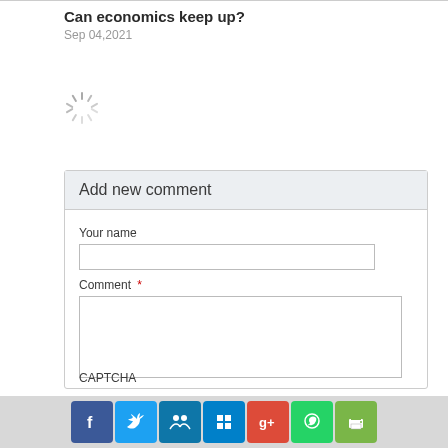Can economics keep up?
Sep 04,2021
[Figure (other): Loading spinner icon]
Add new comment
Your name
Comment *
CAPTCHA
Social sharing buttons: Facebook, Twitter, LinkedIn, Digg, Google+, WhatsApp, Print